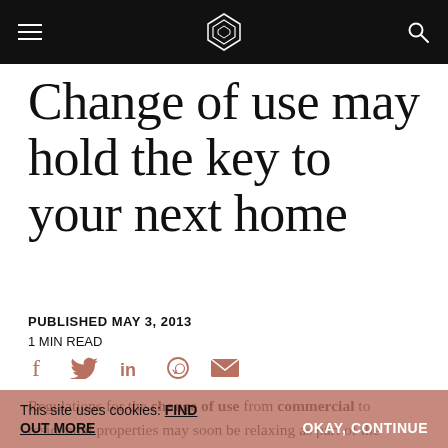Navigation bar with hamburger menu, logo, and search icon
Change of use may hold the key to your next home
PUBLISHED MAY 3, 2013
1 MIN READ
[Figure (infographic): Social share icons: Facebook, Twitter, LinkedIn, WhatsApp, Email]
Regulations for the change of use from commercial to residential properties may soon be relaxing as part of the government's plan to solve the national housing shortage by making use of vacant/derelict
This site uses cookies: FIND OUT MORE   OKAY, CONTINUE